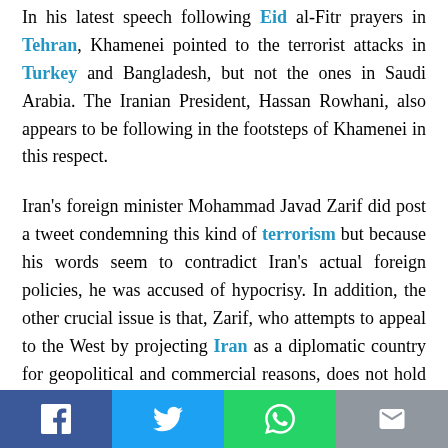In his latest speech following Eid al-Fitr prayers in Tehran, Khamenei pointed to the terrorist attacks in Turkey and Bangladesh, but not the ones in Saudi Arabia. The Iranian President, Hassan Rowhani, also appears to be following in the footsteps of Khamenei in this respect.
Iran's foreign minister Mohammad Javad Zarif did post a tweet condemning this kind of terrorism but because his words seem to contradict Iran's actual foreign policies, he was accused of hypocrisy. In addition, the other crucial issue is that, Zarif, who attempts to appeal to the West by projecting Iran as a diplomatic country for geopolitical and commercial reasons, does not hold the final say in Iran's affairs and IRGC decisions.